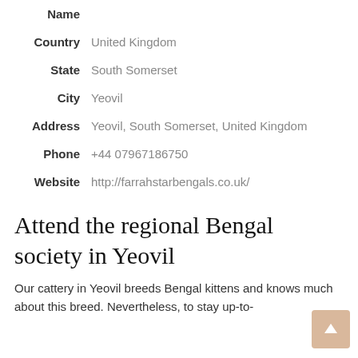| Field | Value |
| --- | --- |
| Name |  |
| Country | United Kingdom |
| State | South Somerset |
| City | Yeovil |
| Address | Yeovil, South Somerset, United Kingdom |
| Phone | +44 07967186750 |
| Website | http://farrahstarbengals.co.uk/ |
Attend the regional Bengal society in Yeovil
Our cattery in Yeovil breeds Bengal kittens and knows much about this breed. Nevertheless, to stay up-to-